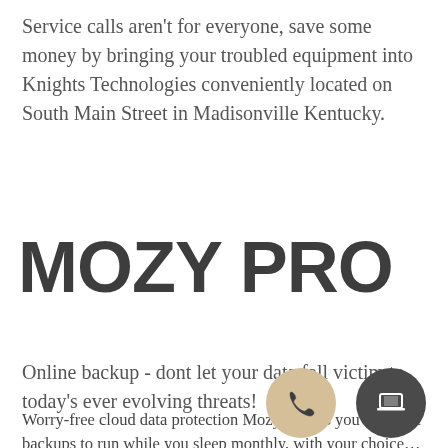Service calls aren't for everyone, save some money by bringing your troubled equipment into Knights Technologies conveniently located on South Main Street in Madisonville Kentucky.
MOZY PRO
Online backup - dont let your data fall victim to today's ever evolving threats!
Worry-free cloud data protection MozyPro lets you schedule backups to run while you sleep monthly, with your choice...